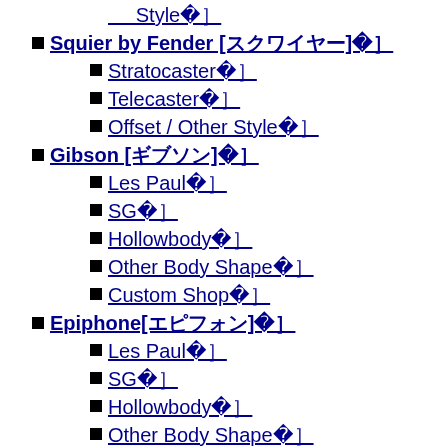Made in Mexico Telecaster 19
Made in Mexico Offset / Other Style 13
Squier by Fender [スクワイヤー] 44
Stratocaster 10
Telecaster 20
Offset / Other Style 15
Gibson [ギブソン] 492
Les Paul 161
SG 60
Hollowbody 103
Other Body Shape 32
Custom Shop 89
Epiphone[エピフォン] 111
Les Paul 45
SG 23
Hollowbody 33
Other Body Shape 11
PRS[ポールリードスミス] 214
Private Stock 45
Custom24 55
Other Model 107
SE 32
Relish Guitars 50